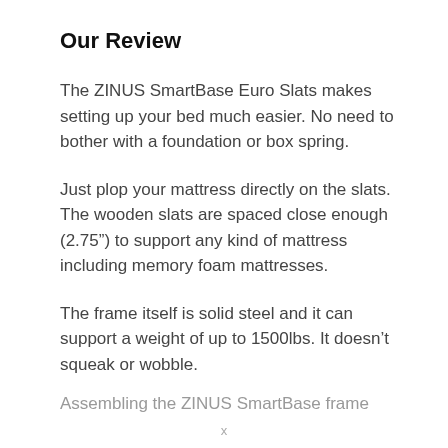Our Review
The ZINUS SmartBase Euro Slats makes setting up your bed much easier. No need to bother with a foundation or box spring.
Just plop your mattress directly on the slats. The wooden slats are spaced close enough (2.75”) to support any kind of mattress including memory foam mattresses.
The frame itself is solid steel and it can support a weight of up to 1500lbs. It doesn’t squeak or wobble.
Assembling the ZINUS SmartBase frame is...